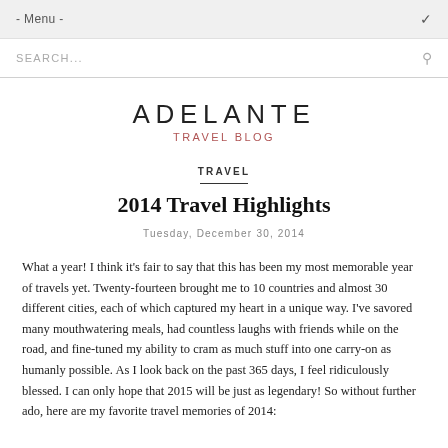- Menu -
SEARCH...
ADELANTE
TRAVEL BLOG
TRAVEL
2014 Travel Highlights
Tuesday, December 30, 2014
What a year! I think it's fair to say that this has been my most memorable year of travels yet. Twenty-fourteen brought me to 10 countries and almost 30 different cities, each of which captured my heart in a unique way. I've savored many mouthwatering meals, had countless laughs with friends while on the road, and fine-tuned my ability to cram as much stuff into one carry-on as humanly possible. As I look back on the past 365 days, I feel ridiculously blessed. I can only hope that 2015 will be just as legendary! So without further ado, here are my favorite travel memories of 2014: